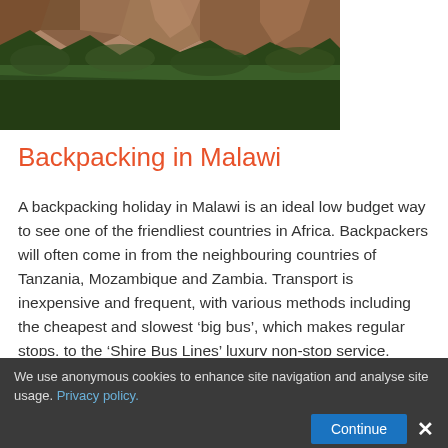[Figure (photo): Photograph of rocky mountains with dense tree forest in foreground, warm earthy tones]
Backpacking in Malawi
A backpacking holiday in Malawi is an ideal low budget way to see one of the friendliest countries in Africa. Backpackers will often come in from the neighbouring countries of Tanzania, Mozambique and Zambia. Transport is inexpensive and frequent, with various methods including the cheapest and slowest ‘big bus’, which makes regular stops, to the ‘Shire Bus Lines’ luxury non-stop service. These are replaced by Matolas (pick-up trucks) and bicycle taxis in more
We use anonymous cookies to enhance site navigation and analyse site usage. Privacy policy.